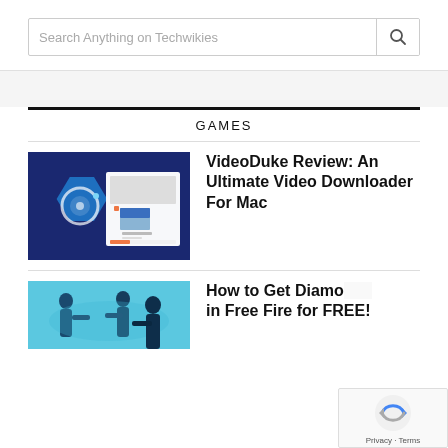Search Anything on Techwikies
GAMES
VideoDuke Review: An Ultimate Video Downloader For Mac
[Figure (screenshot): Thumbnail image for VideoDuke software showing a blue hexagonal camera aperture icon and a video screenshot on dark blue background]
[Figure (screenshot): Thumbnail image showing people with guns from Free Fire game]
How to Get Diamonds in Free Fire for FREE!